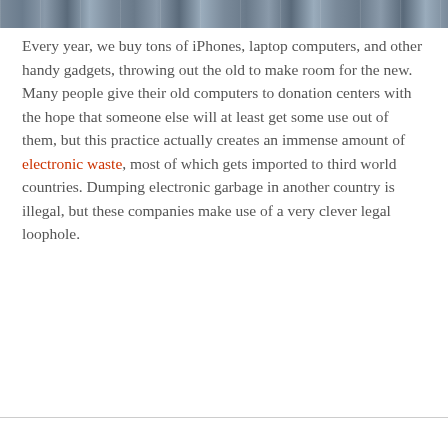[Figure (photo): A horizontal strip of photos showing various electronic devices and gadgets]
Every year, we buy tons of iPhones, laptop computers, and other handy gadgets, throwing out the old to make room for the new. Many people give their old computers to donation centers with the hope that someone else will at least get some use out of them, but this practice actually creates an immense amount of electronic waste, most of which gets imported to third world countries. Dumping electronic garbage in another country is illegal, but these companies make use of a very clever legal loophole.